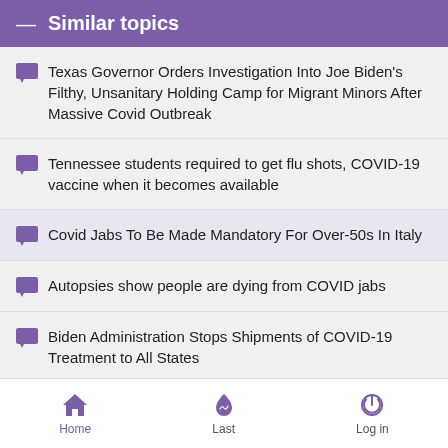— Similar topics
Texas Governor Orders Investigation Into Joe Biden's Filthy, Unsanitary Holding Camp for Migrant Minors After Massive Covid Outbreak
Tennessee students required to get flu shots, COVID-19 vaccine when it becomes available
Covid Jabs To Be Made Mandatory For Over-50s In Italy
Autopsies show people are dying from COVID jabs
Biden Administration Stops Shipments of COVID-19 Treatment to All States
Home  Last  Log in